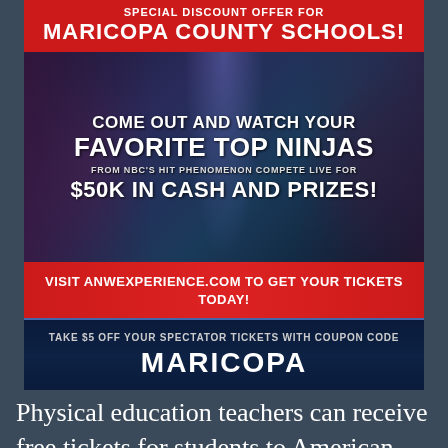SPECIAL DISCOUNT OFFER FOR MARICOPA COUNTY SCHOOLS!
[Figure (illustration): Promotional advertisement for American Ninja Warrior experience event showing performers/athletes with dark blue background and red accents]
COME OUT AND WATCH YOUR FAVORITE TOP NINJAS FROM NBC'S HIT PHENOMENON COMPETE LIVE FOR $50K IN CASH AND PRIZES!
VISIT ANWEXPERIENCE.COM TO GET YOUR TICKETS TODAY!
TAKE $5 OFF YOUR SPECTATOR TICKETS WITH COUPON CODE MARICOPA
Physical education teachers can receive free tickets for students to American Ninja Warrior event Feb. 10-11